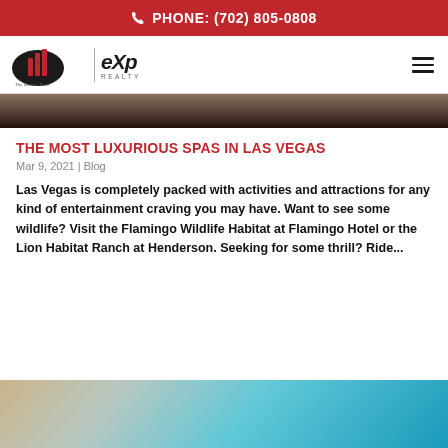PHONE: (702) 805-0808
[Figure (logo): The Brooks Team eXp Realty logo with red bar chart icon and eXp Realty wordmark]
[Figure (photo): Partial dark toned image at top of article, likely a spa photo]
THE MOST LUXURIOUS SPAS IN LAS VEGAS
Mar 9, 2021 | Blog
Las Vegas is completely packed with activities and attractions for any kind of entertainment craving you may have. Want to see some wildlife? Visit the Flamingo Wildlife Habitat at Flamingo Hotel or the Lion Habitat Ranch at Henderson. Seeking for some thrill? Ride...
[Figure (photo): Partial photo of a pool with turquoise water and stone/tile edge, likely a luxury spa or pool]